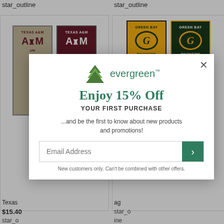star_outline
star_outline
[Figure (photo): Texas A&M University pennant banners - one tan/cream color and one maroon color with ATM logo]
[Figure (photo): Green Bay Packers pennant banners - one gold and one dark green with G Packers logo]
Texas
$15.40
star_outline
star_outline
star_outline
ag
star_outline
ine
ine
[Figure (screenshot): Evergreen brand popup modal offering 15% off first purchase with email signup form]
Enjoy 15% Off
YOUR FIRST PURCHASE
...and be the first to know about new products and promotions!
New customers only. Can't be combined with other offers.